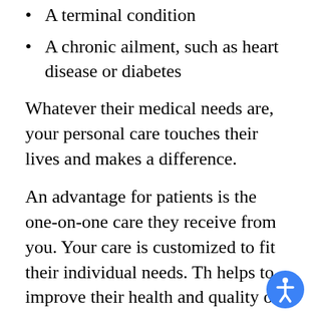A terminal condition
A chronic ailment, such as heart disease or diabetes
Whatever their medical needs are, your personal care touches their lives and makes a difference.
An advantage for patients is the one-on-one care they receive from you. Your care is customized to fit their individual needs. Th helps to improve their health and quality of